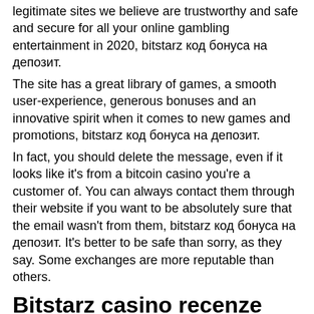legitimate sites we believe are trustworthy and safe and secure for all your online gambling entertainment in 2020, bitstarz код бонуса на депозит.
The site has a great library of games, a smooth user-experience, generous bonuses and an innovative spirit when it comes to new games and promotions, bitstarz код бонуса на депозит.
In fact, you should delete the message, even if it looks like it's from a bitcoin casino you're a customer of. You can always contact them through their website if you want to be absolutely sure that the email wasn't from them, bitstarz код бонуса на депозит. It's better to be safe than sorry, as they say. Some exchanges are more reputable than others.
Bitstarz casino recenze
Битстарз зеркало, bitstarz deposit bonus code 2021. Bitstarz casino бездепозитный